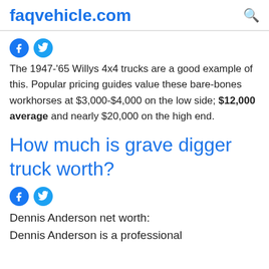faqvehicle.com
The 1947-'65 Willys 4x4 trucks are a good example of this. Popular pricing guides value these bare-bones workhorses at $3,000-$4,000 on the low side; $12,000 average and nearly $20,000 on the high end.
How much is grave digger truck worth?
Dennis Anderson net worth: Dennis Anderson is a professional